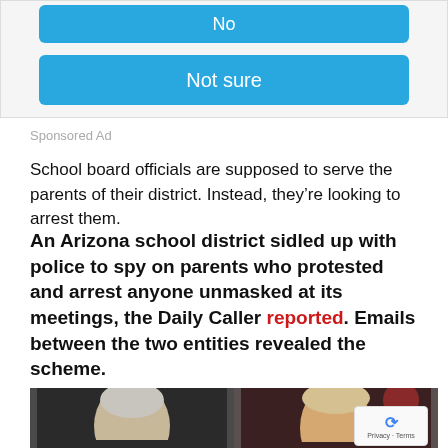[Figure (screenshot): Blue button partially visible at top with truncated text, and a blue 'Not sure' button below it, on a light grey card background]
Sponsored Ad
School board officials are supposed to serve the parents of their district. Instead, they’re looking to arrest them.
An Arizona school district sidled up with police to spy on parents who protested and arrest anyone unmasked at its meetings, the Daily Caller reported. Emails between the two entities revealed the scheme.
[Figure (photo): Side-by-side photos: left shows Mike Pence (white hair, dark background), right shows Donald Trump (blonde hair, speaking at rally)]